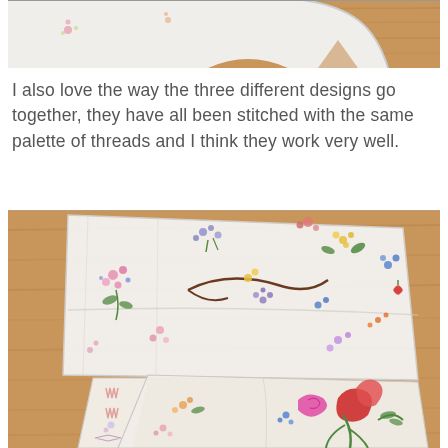[Figure (photo): Partial view of white embroidered fabric pieces laid on a wooden surface, showing floral embroidery patterns, cropped at top]
I also love the way the three different designs go together, they have all been stitched with the same palette of threads and I think they work very well.
[Figure (photo): White embroidered fabric pieces laid out on a wooden surface, showing colorful floral embroidery designs including flowers, leaves, and botanical motifs in pink, blue, green, yellow, and red threads]